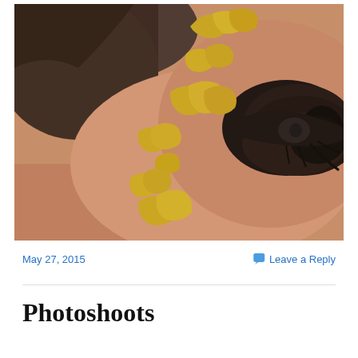[Figure (photo): Close-up photograph of a person's face showing one eye with dramatic dark smoky eye makeup and gold leaf flakes applied to the skin around the temple and cheek area. The background shows hair.]
May 27, 2015
Leave a Reply
Photoshoots